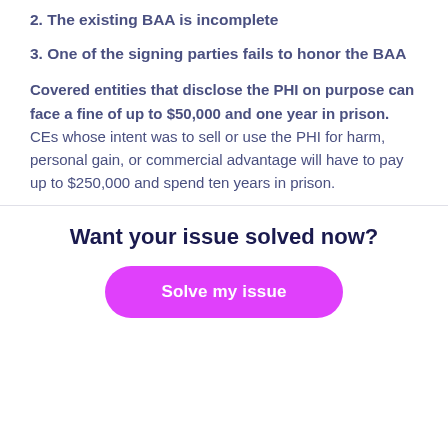2. The existing BAA is incomplete
3. One of the signing parties fails to honor the BAA
Covered entities that disclose the PHI on purpose can face a fine of up to $50,000 and one year in prison. CEs whose intent was to sell or use the PHI for harm, personal gain, or commercial advantage will have to pay up to $250,000 and spend ten years in prison.
Want your issue solved now?
Solve my issue